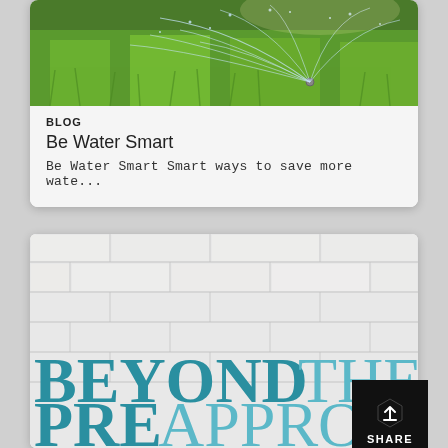[Figure (photo): Sprinkler irrigation system spraying water over green grass in sunlight]
BLOG
Be Water Smart
Be Water Smart Smart ways to save more wate...
[Figure (photo): White painted brick wall background with large bold text reading BEYOND THE PREAPPROVAL]
SHARE